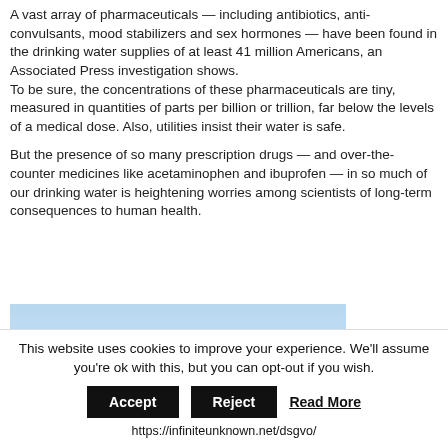A vast array of pharmaceuticals — including antibiotics, anti-convulsants, mood stabilizers and sex hormones — have been found in the drinking water supplies of at least 41 million Americans, an Associated Press investigation shows.
To be sure, the concentrations of these pharmaceuticals are tiny, measured in quantities of parts per billion or trillion, far below the levels of a medical dose. Also, utilities insist their water is safe.
But the presence of so many prescription drugs — and over-the-counter medicines like acetaminophen and ibuprofen — in so much of our drinking water is heightening worries among scientists of long-term consequences to human health.
[Figure (photo): Partial photo showing a person wearing a hat against a light blue sky background, cropped at the bottom of the visible area.]
This website uses cookies to improve your experience. We'll assume you're ok with this, but you can opt-out if you wish.
Accept   Reject   Read More
https://infiniteunknown.net/dsgvo/